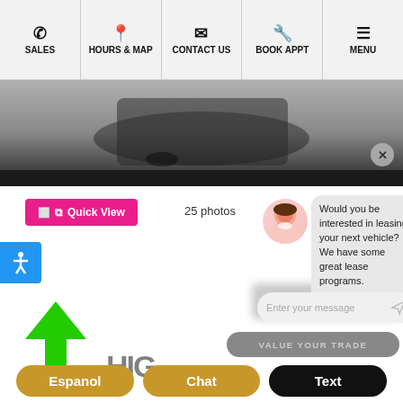SALES | HOURS & MAP | CONTACT US | BOOK APPT | MENU
[Figure (screenshot): Partial car bottom/tire on gray pavement background with black bar at bottom and X close button]
Quick View
25 photos
[Figure (screenshot): Chat widget with female avatar, message bubble: 'Would you be interested in leasing your next vehicle? We have some great lease programs.' and Enter your message input field]
Would you be interested in leasing your next vehicle? We have some great lease programs.
Enter your message
VALUE YOUR TRADE
[Figure (illustration): Large green upward-pointing arrow]
Espanol
Chat
Text